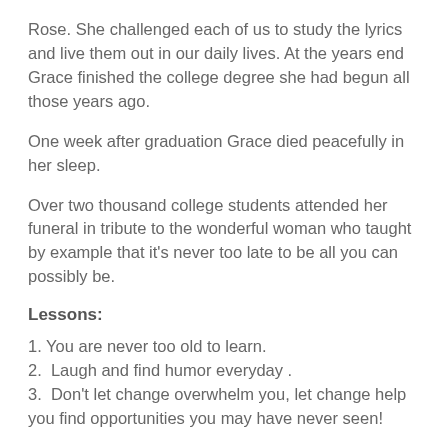Rose. She challenged each of us to study the lyrics and live them out in our daily lives. At the years end Grace finished the college degree she had begun all those years ago.
One week after graduation Grace died peacefully in her sleep.
Over two thousand college students attended her funeral in tribute to the wonderful woman who taught by example that it's never too late to be all you can possibly be.
Lessons:
1. You are never too old to learn.
2.  Laugh and find humor everyday .
3.  Don't let change overwhelm you, let change help you find opportunities you may have never seen!
Advice
Do you have a dream, a wish, then turn it into a goal today - break it down, take one step, then another and accomplish